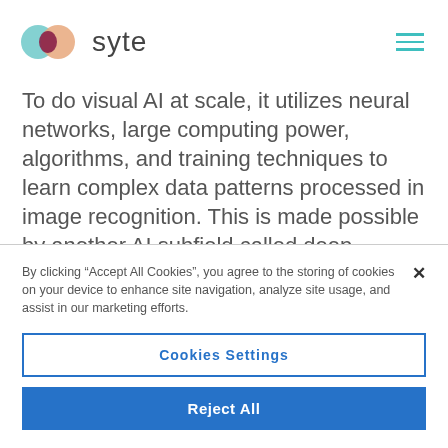syte
To do visual AI at scale, it utilizes neural networks, large computing power, algorithms, and training techniques to learn complex data patterns processed in image recognition. This is made possible by another AI subfield called deep learning. Depending
By clicking “Accept All Cookies”, you agree to the storing of cookies on your device to enhance site navigation, analyze site usage, and assist in our marketing efforts.
Cookies Settings
Reject All